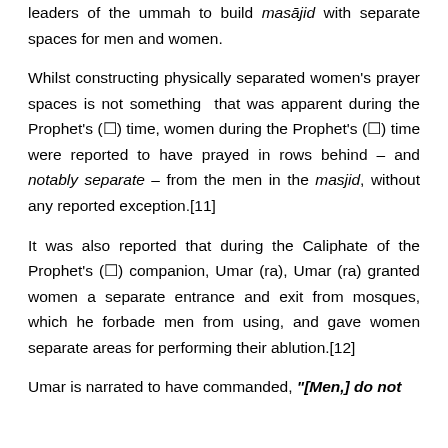leaders of the ummah to build masājid with separate spaces for men and women.
Whilst constructing physically separated women's prayer spaces is not something that was apparent during the Prophet's (ﷺ) time, women during the Prophet's (ﷺ) time were reported to have prayed in rows behind – and notably separate – from the men in the masjid, without any reported exception.[11]
It was also reported that during the Caliphate of the Prophet's (ﷺ) companion, Umar (ra), Umar (ra) granted women a separate entrance and exit from mosques, which he forbade men from using, and gave women separate areas for performing their ablution.[12]
Umar is narrated to have commanded, "[Men,] do not"